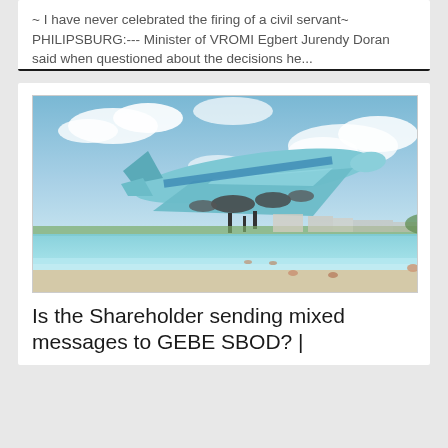~ I have never celebrated the firing of a civil servant~ PHILIPSBURG:--- Minister of VROMI Egbert Jurendy Doran said when questioned about the decisions he...
[Figure (photo): A large KLM Boeing 747 airplane flying low over a tropical beach with turquoise water, blue sky with clouds, and beachgoers visible below.]
Is the Shareholder sending mixed messages to GEBE SBOD? |